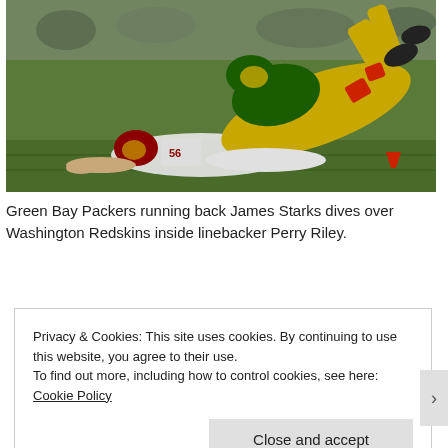[Figure (photo): Green Bay Packers running back James Starks dives over Washington Redskins inside linebacker Perry Riley (wearing #56). Action shot from an NFL game on grass field.]
Green Bay Packers running back James Starks dives over Washington Redskins inside linebacker Perry Riley.
Privacy & Cookies: This site uses cookies. By continuing to use this website, you agree to their use.
To find out more, including how to control cookies, see here: Cookie Policy